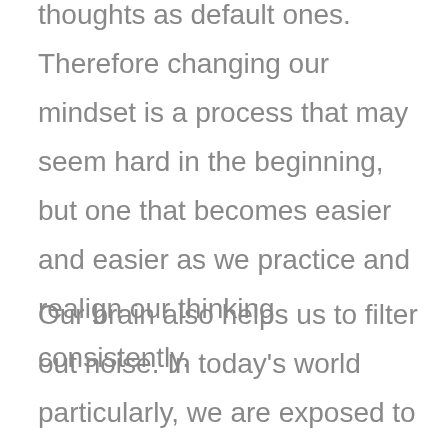thoughts as default ones. Therefore changing our mindset is a process that may seem hard in the beginning, but one that becomes easier and easier as we practice and realign our thinking consistently.
Our brain also helps us to filter out noise. In today's world particularly, we are exposed to an incredible amount of information and stimuli. As I